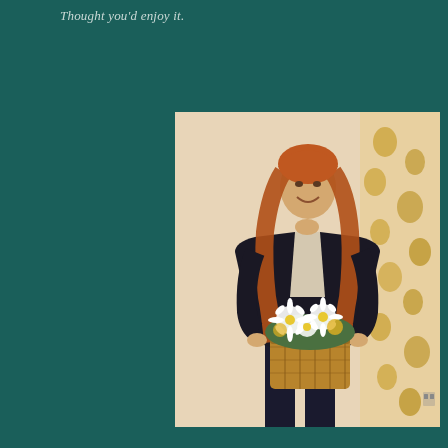Thought you'd enjoy it.
[Figure (photo): Vintage photograph of a young woman with long red hair, wearing a dark blazer over a light top and dark pants, holding a wicker basket filled with white and yellow daisy flowers. She is smiling and standing in front of a cream wall with a floral patterned wallpaper visible on the right side.]